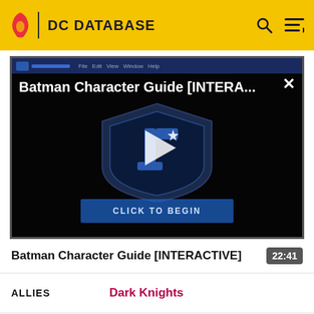DC DATABASE
[Figure (screenshot): Batman Character Guide [INTERA...] video thumbnail with play button and 'CLICK TO BEGIN' button on a dark background with a Justice League shield logo]
Batman Character Guide [INTERACTIVE]
22:41
| ALLIES |  |
| --- | --- |
| ALLIES | Dark Knights |